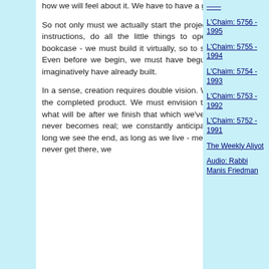how we will feel about it. We have to have a goal, a business plan.
So not only must we actually start the project - get the materials, follow the instructions, do all the little things to open the store or assemble the bookcase - we must build it virtually, so to speak, construct it in our minds. Even before we begin, we must have begun. Even as we build, we must imaginatively have already built.
In a sense, creation requires double vision. We must foresee the final result, the completed product. We must envision the end of the process, indeed, what will be after we finish that which we've begun. But the level of insight never becomes real; we constantly anticipate but never arrive. In fact, as long we see the end, as long as we live - mentally - after the fact we not only never get there, we
L'Chaim: 5756 - 1995
L'Chaim: 5755 - 1994
L'Chaim: 5754 - 1993
L'Chaim: 5753 - 1992
L'Chaim: 5752 - 1991
The Weekly Aliyot
Audio: Rabbi Manis Friedman